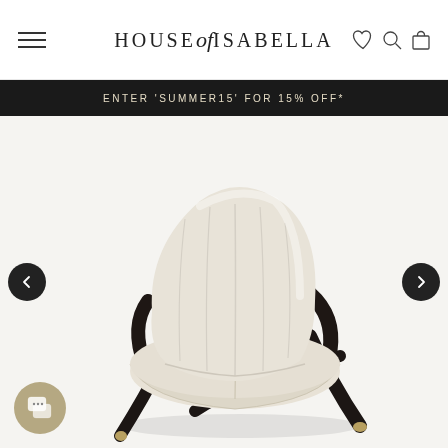House of Isabella — navigation header with hamburger menu, logo, and icons (heart, search, cart)
ENTER 'SUMMER15' FOR 15% OFF*
[Figure (photo): A luxury accent chair with cream/beige channel-tufted upholstery and dark espresso wood frame legs in an X-shape, with gold-tipped feet. A product photo on a light background. Left and right navigation arrows visible.]